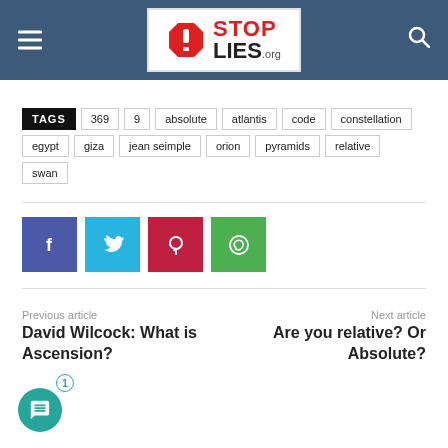STOP LIES .org
TAGS: 369, 9, absolute, atlantis, code, constellation, egypt, giza, jean seimple, orion, pyramids, relative, swan
[Figure (other): Social sharing buttons: Facebook, Twitter, Pinterest, WhatsApp]
Previous article
1
David Wilcock: What is Ascension?
Next article
Are you relative? Or Absolute?